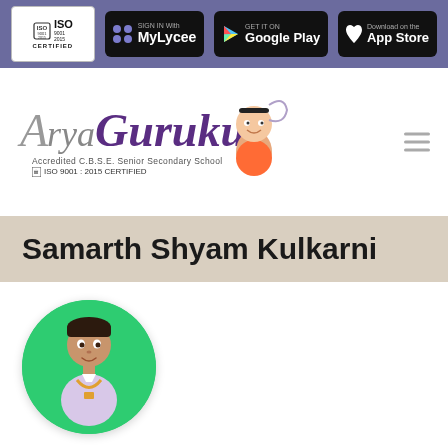ISO 9001:2015 CERTIFIED | SIGN IN With MyLycee | GET IT ON Google Play | Download on the App Store
[Figure (logo): Arya Gurukul school logo — stylized italic text 'Arya Gurukul' with mascot cartoon figure, subtitle: Accredited C.B.S.E. Senior Secondary School, ISO 9001:2015 CERTIFIED]
Samarth Shyam Kulkarni
[Figure (photo): Circular photo of a young boy wearing a light purple shirt and lanyard, against a green background]